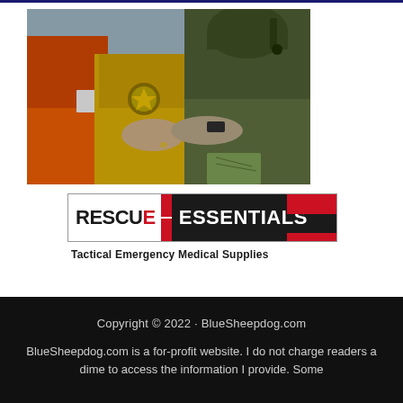[Figure (photo): Tactical emergency scene showing rescue personnel in helmets and tactical gear providing medical assistance to a person in an orange jacket. Close-up shot with focus on hands and equipment.]
[Figure (logo): Rescue Essentials logo - black and white text with red accent elements. 'RESCUE' in black with red E, followed by 'ESSENTIALS' in white on black background with red corner accents. Tagline: Tactical Emergency Medical Supplies]
Copyright © 2022 · BlueSheepdog.com

BlueSheepdog.com is a for-profit website. I do not charge readers a dime to access the information I provide. Some